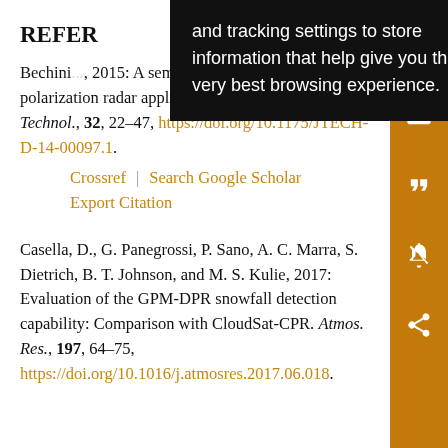REFER
Bechini... semisup... method for dual-polarization radar applications. J. Atmos. Oceanic Technol., 32, 22–47, https://doi.org/10.1175/JTECH-D-14-00097.1.
Crossref | Search Google Scholar
Export Citation
Casella, D., G. Panegrossi, P. Sano, A. C. Marra, S. Dietrich, B. T. Johnson, and M. S. Kulie, 2017: Evaluation of the GPM-DPR snowfall detection capability: Comparison with CloudSat-CPR. Atmos. Res., 197, 64–75, https://doi.org/10.1016/j.atmosres.2017.06.018.